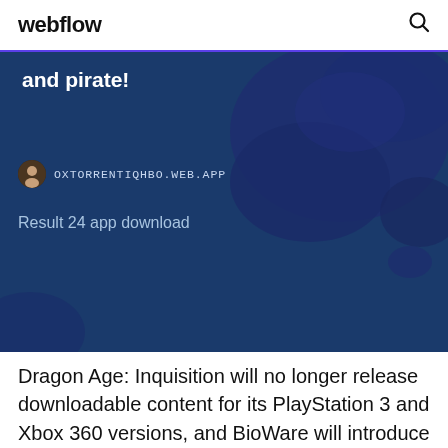webflow
[Figure (screenshot): Screenshot of a webpage with a dark navy blue background showing a world map silhouette. Text reads 'and pirate!' in white bold font. Below is a URL label 'OXTORRENTIQHBO.WEB.APP' with a small avatar icon, and beneath that 'Result 24 app download' in light blue text.]
Dragon Age: Inquisition will no longer release downloadable content for its PlayStation 3 and Xbox 360 versions, and BioWare will introduce a save-importing feature for those who want to